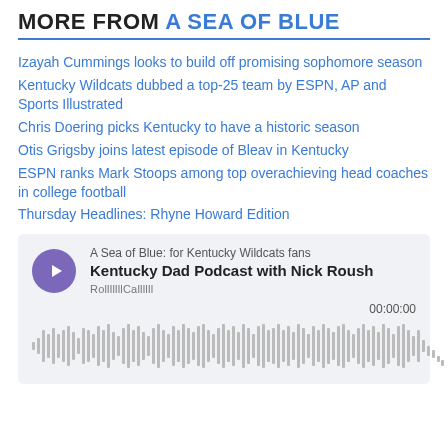MORE FROM A SEA OF BLUE
Izayah Cummings looks to build off promising sophomore season
Kentucky Wildcats dubbed a top-25 team by ESPN, AP and Sports Illustrated
Chris Doering picks Kentucky to have a historic season
Otis Grigsby joins latest episode of Bleav in Kentucky
ESPN ranks Mark Stoops among top overachieving head coaches in college football
Thursday Headlines: Rhyne Howard Edition
[Figure (other): Podcast player widget for 'Kentucky Dad Podcast with Nick Roush' from A Sea of Blue: for Kentucky Wildcats fans. Shows play button, podcast title, subtitle 'RolllllllCallllll', timestamp 00:00:00, and audio waveform visualization.]